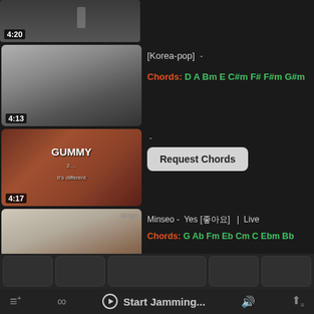[Figure (screenshot): Music app UI showing video thumbnail with time 4:20]
[Figure (screenshot): Korea-pop song thumbnail with black and white photo, time 4:13]
[Korea-pop]  -
Chords: D A Bm E C#m F# F#m G#m
[Figure (screenshot): GUMMY album cover thumbnail, time 4:17]
-
Request Chords
[Figure (screenshot): Minseo performance thumbnail from dingo, time 5:17]
Minseo -  Yes [좋아요]  |  Live
Chords: G Ab Fm Eb Cm C Ebm Bb
Start Jamming...